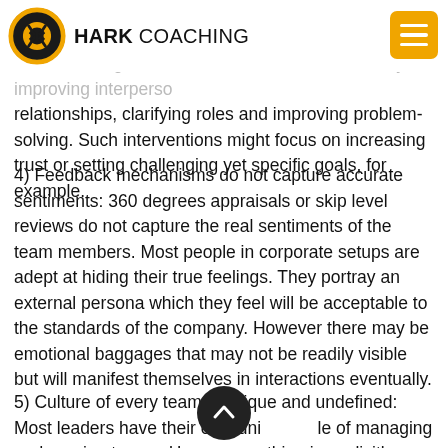HARK COACHING
frequently conducted on products and processes, but less on developing team skills or competencies. Team-building interventions aim to better teams by improving interpersonal relationships, clarifying roles and improving problem-solving. Such interventions might focus on increasing trust or setting challenging yet specific goals, for example.
4) Feedback mechanisms do not capture accurate sentiments: 360 degrees appraisals or skip level reviews do not capture the real sentiments of the team members. Most people in corporate setups are adept at hiding their true feelings. They portray an external persona which they feel will be acceptable to the standards of the company. However there may be emotional baggages that may not be readily visible but will manifest themselves in interactions eventually.
5) Culture of every team is unique and undefined: Most leaders have their own unique style of managing and running teams. However nothing is explicitly stated or